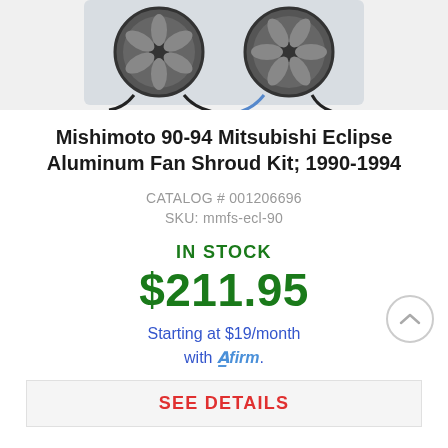[Figure (photo): Mishimoto dual fan shroud kit product photo showing two electric fans mounted on an aluminum shroud panel]
Mishimoto 90-94 Mitsubishi Eclipse Aluminum Fan Shroud Kit; 1990-1994
CATALOG # 001206696
SKU: mmfs-ecl-90
IN STOCK
$211.95
Starting at $19/month with Affirm.
SEE DETAILS